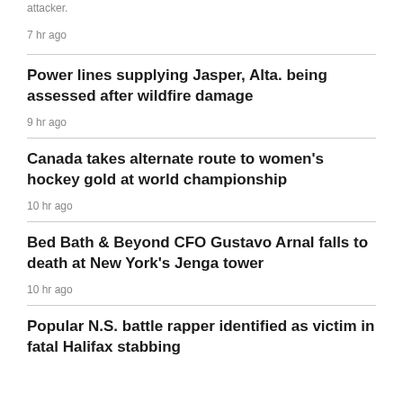attacker.
7 hr ago
Power lines supplying Jasper, Alta. being assessed after wildfire damage
9 hr ago
Canada takes alternate route to women's hockey gold at world championship
10 hr ago
Bed Bath & Beyond CFO Gustavo Arnal falls to death at New York's Jenga tower
10 hr ago
Popular N.S. battle rapper identified as victim in fatal Halifax stabbing
11 hr ago